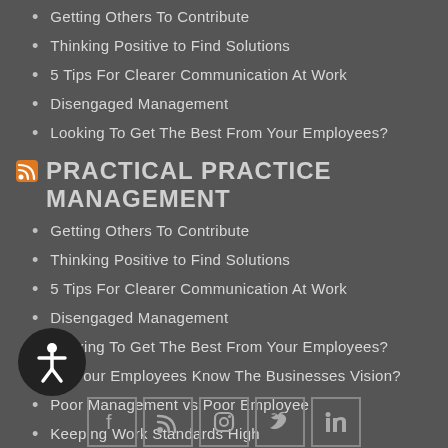Getting Others To Contribute
Thinking Positive to Find Solutions
5 Tips For Clearer Communication At Work
Disengaged Management
Looking To Get The Best From Your Employees?
PRACTICAL PRACTICE MANAGEMENT
Getting Others To Contribute
Thinking Positive to Find Solutions
5 Tips For Clearer Communication At Work
Disengaged Management
Looking To Get The Best From Your Employees?
Do Your Employees Know The Businesses Vision?
Poor Management vs Poor Employee
Keeping Work Standards High
Team Death, Dread and Doom
Do Not Stop...Keep Moving Forward